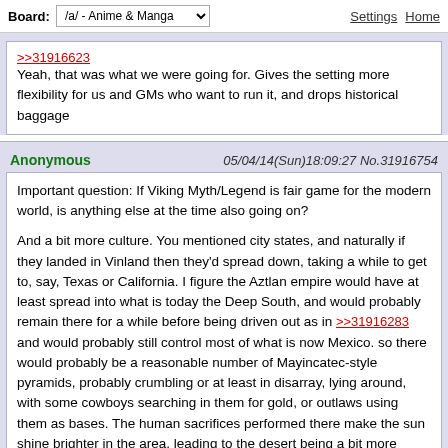Board: /a/ - Anime & Manga | Settings Home
>>31916623
Yeah, that was what we were going for. Gives the setting more flexibility for us and GMs who want to run it, and drops historical baggage
Anonymous 05/04/14(Sun)18:09:27 No.31916754
Important question: If Viking Myth/Legend is fair game for the modern world, is anything else at the time also going on?

And a bit more culture. You mentioned city states, and naturally if they landed in Vinland then they'd spread down, taking a while to get to, say, Texas or California. I figure the Aztlan empire would have at least spread into what is today the Deep South, and would probably remain there for a while before being driven out as in >>31916283 and would probably still control most of what is now Mexico. so there would probably be a reasonable number of Mayincatec-style pyramids, probably crumbling or at least in disarray, lying around, with some cowboys searching in them for gold, or outlaws using them as bases. The human sacrifices performed there make the sun shine brighter in the area, leading to the desert being a bit more deserty.

A seat of power would be in what is today Quebec/Ontario, maybe near what is now Torronto, probably with a history of the Hudson Bay and its potential for resources and shipping. (Beware of Wendigos). I'd also imagine growing City States (Earldoms? Kingdoms?) in